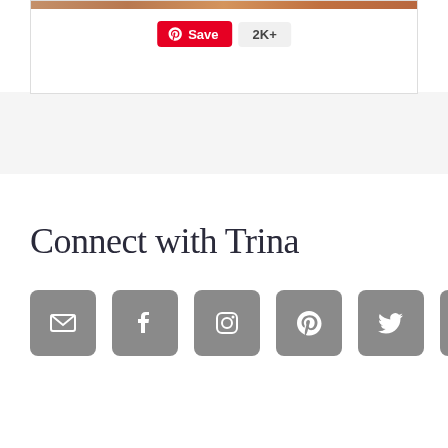[Figure (screenshot): Top portion of a white card with an image strip at top, containing a Pinterest Save button (red) and a 2K+ count badge]
Connect with Trina
[Figure (infographic): Row of six social media icon buttons: email, Facebook, Instagram, Pinterest, Twitter, YouTube — all in gray rounded square buttons]